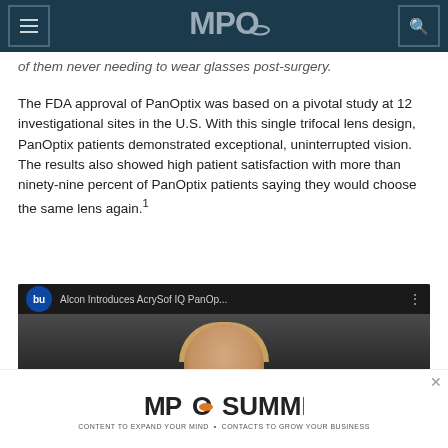MPO
of them never needing to wear glasses post-surgery.
The FDA approval of PanOptix was based on a pivotal study at 12 investigational sites in the U.S. With this single trifocal lens design, PanOptix patients demonstrated exceptional, uninterrupted vision. The results also showed high patient satisfaction with more than ninety-nine percent of PanOptix patients saying they would choose the same lens again.¹
[Figure (screenshot): Embedded YouTube video thumbnail titled 'Alcon Introduces AcrySof IQ PanOp...' with a person's face visible in the preview]
[Figure (logo): MPO Summit 2022 advertisement banner with tagline 'CONTENT TO EXPAND YOUR MIND · CONTACTS TO GROW YOUR BUSINESS']